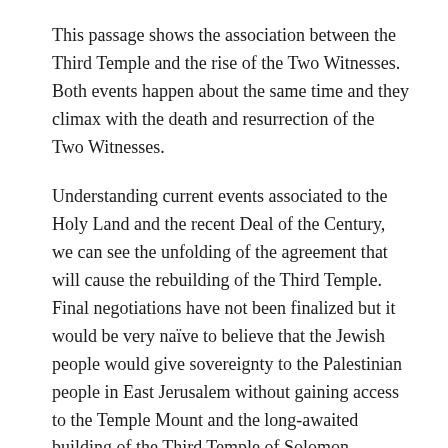This passage shows the association between the Third Temple and the rise of the Two Witnesses. Both events happen about the same time and they climax with the death and resurrection of the Two Witnesses.
Understanding current events associated to the Holy Land and the recent Deal of the Century, we can see the unfolding of the agreement that will cause the rebuilding of the Third Temple. Final negotiations have not been finalized but it would be very naïve to believe that the Jewish people would give sovereignty to the Palestinian people in East Jerusalem without gaining access to the Temple Mount and the long-awaited building of the Third Temple of Solomon.
Even with understanding that the events of the locusts and the rise of the armies of the east, have not yet happened, we can see how close we are to these events being fulfilled. All we need is for a Star (Angel) to fall from heaven and open the